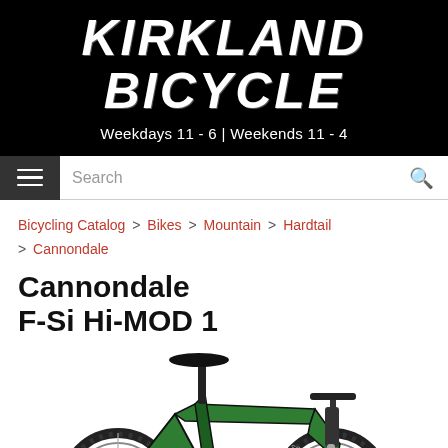KIRKLAND BICYCLE
Weekdays 11 - 6 | Weekends 11 - 4
Search
Bicycling Catalog > Bikes > Mountain > Hardtail > Cannondale
Cannondale F-Si Hi-MOD 1
[Figure (photo): Green and black Cannondale F-Si Hi-MOD 1 hardtail mountain bike, shown from the side. Features carbon frame, Schwalbe tires, and a suspension fork. Bike is partially cropped at the bottom of the page.]